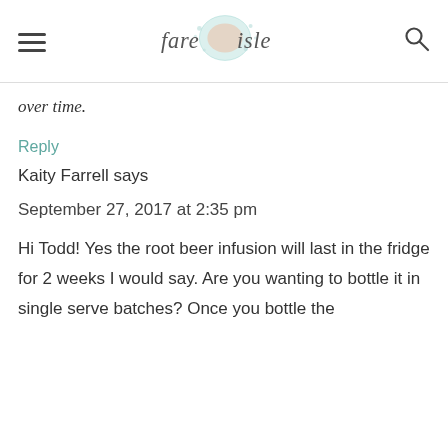fare isle
over time.
Reply
Kaity Farrell says
September 27, 2017 at 2:35 pm
Hi Todd! Yes the root beer infusion will last in the fridge for 2 weeks I would say. Are you wanting to bottle it in single serve batches? Once you bottle the